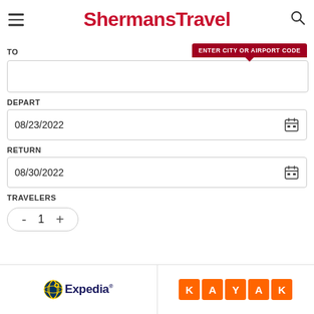ShermansTravel
TO
ENTER CITY OR AIRPORT CODE
DEPART
08/23/2022
RETURN
08/30/2022
TRAVELERS
- 1 +
[Figure (logo): Expedia logo with globe icon and text]
[Figure (logo): KAYAK logo with orange letter tiles]